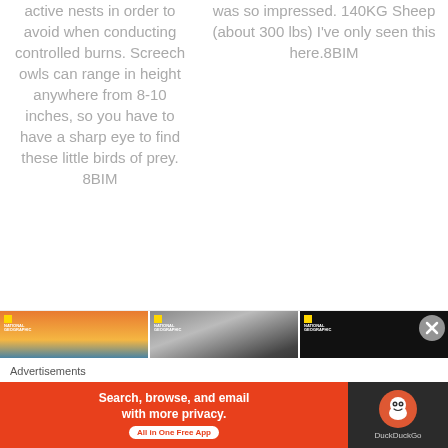active nests in order to avoid when conducting controlled burns. Screech owls can range in height anywhere from 8-10 inches, so you have to have a sharp eye to find these little birds of prey. 8BIM
was so impressed. 140KG Sheep (about 300 lbs) I've only seen this here.8BIM
[Figure (photo): Three National Geographic video thumbnails side by side: sunset/volcano scene, dark metallic surface, and dark/night scene]
Advertisements
[Figure (screenshot): DuckDuckGo advertisement banner: orange left panel with 'Search, browse, and email with more privacy. All in One Free App' and dark right panel with DuckDuckGo duck logo]